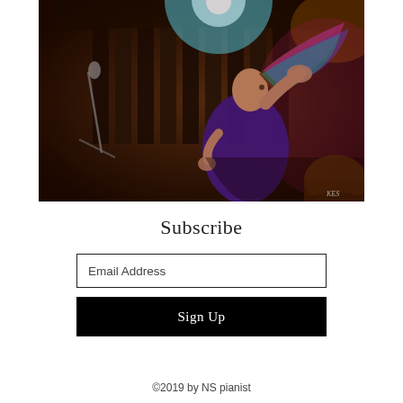[Figure (photo): A woman in a purple dress performing on stage, holding her colorful hair up with one hand, with a microphone stand visible to the left and stage lighting behind her. Photo credit 'KES' visible in bottom right.]
Subscribe
Email Address
Sign Up
©2019 by NS pianist